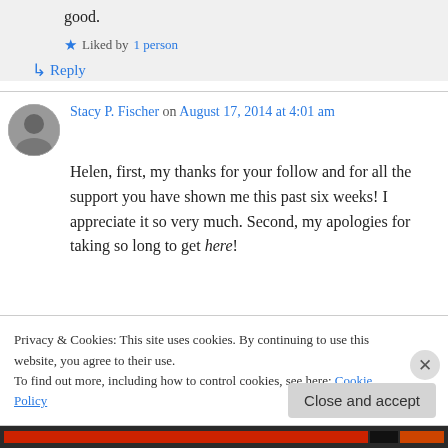good.
★ Liked by 1 person
↳ Reply
Stacy P. Fischer on August 17, 2014 at 4:01 am
Helen, first, my thanks for your follow and for all the support you have shown me this past six weeks! I appreciate it so very much. Second, my apologies for taking so long to get here!
Privacy & Cookies: This site uses cookies. By continuing to use this website, you agree to their use.
To find out more, including how to control cookies, see here: Cookie Policy
Close and accept